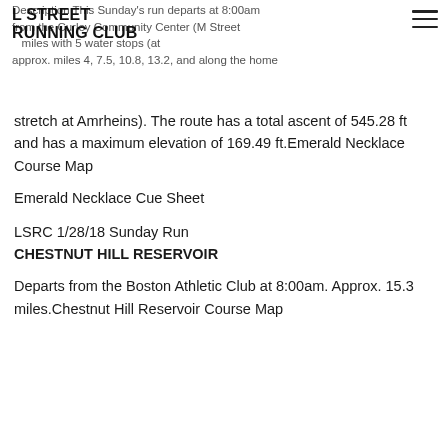L STREET
RUNNING CLUB
Description This Sunday's run departs at 8:00am from the Curley Community Center (M Street miles with 5 water stops (at approx. miles 4, 7.5, 10.8, 13.2, and along the home stretch at Amrheins). The route has a total ascent of 545.28 ft and has a maximum elevation of 169.49 ft.Emerald Necklace Course Map
Emerald Necklace Cue Sheet
LSRC 1/28/18 Sunday Run
CHESTNUT HILL RESERVOIR
Departs from the Boston Athletic Club at 8:00am. Approx. 15.3 miles.Chestnut Hill Reservoir Course Map